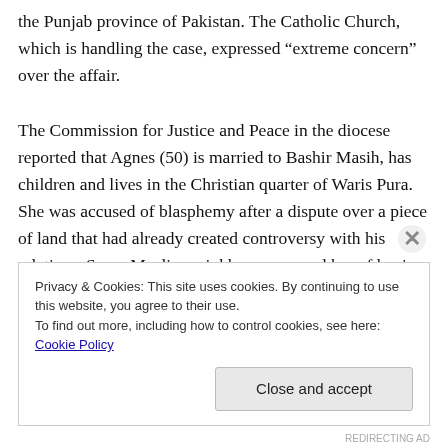the Punjab province of Pakistan. The Catholic Church, which is handling the case, expressed “extreme concern” over the affair.

The Commission for Justice and Peace in the diocese reported that Agnes (50) is married to Bashir Masih, has children and lives in the Christian quarter of Waris Pura. She was accused of blasphemy after a dispute over a piece of land that had already created controversy with his relatives. Some Muslim neighbours accused her of having made insulting statements against the Prophet
Privacy & Cookies: This site uses cookies. By continuing to use this website, you agree to their use.
To find out more, including how to control cookies, see here: Cookie Policy

Close and accept